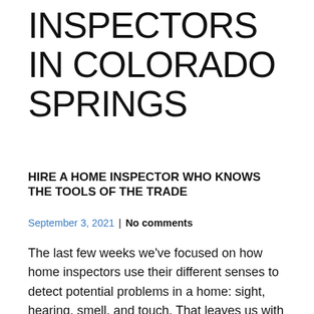INSPECTORS IN COLORADO SPRINGS
HIRE A HOME INSPECTOR WHO KNOWS THE TOOLS OF THE TRADE
September 3, 2021  |  No comments
The last few weeks we've focused on how home inspectors use their different senses to detect potential problems in a home: sight, hearing, smell, and touch. That leaves us with taste, which doesn't really apply here, unless you're a home seller who offers the inspector